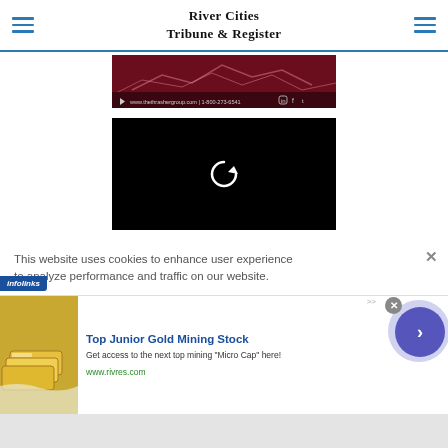River Cities Tribune & Register
[Figure (screenshot): Advertisement banner for thethrashergroup.com with dark red background, line graph, website URL www.thethrashergroup.com and phone 1-800-273-6541, social media icons]
[Figure (screenshot): Black video player with a white replay/refresh circular arrow icon in the center]
This website uses cookies to enhance user experience to analyze performance and traffic on our website.
[Figure (screenshot): infolinks advertisement banner showing Top Junior Gold Mining Stock - Get access to the next top mining Micro Cap here! www.rivres.com with gold bars image and blue arrow button]